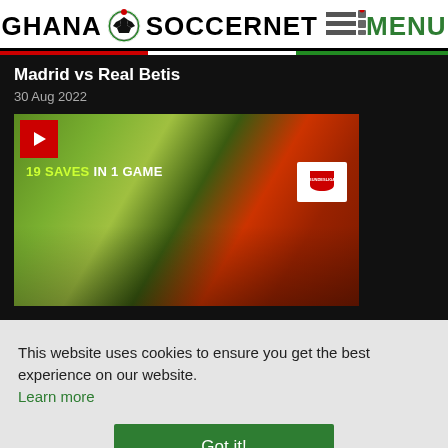GHANA SOCCERNET MENU
Madrid vs Real Betis
30 Aug 2022
[Figure (screenshot): Video thumbnail showing a goalkeeper making a save, with text '19 SAVES IN 1 GAME' and Bundesliga logo overlay]
This website uses cookies to ensure you get the best experience on our website.
Learn more
Got it!